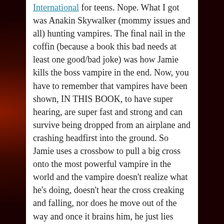International for teens. Nope. What I got was Anakin Skywalker (mommy issues and all) hunting vampires. The final nail in the coffin (because a book this bad needs at least one good/bad joke) was how Jamie kills the boss vampire in the end. Now, you have to remember that vampires have been shown, IN THIS BOOK, to have super hearing, are super fast and strong and can survive being dropped from an airplane and crashing headfirst into the ground. So Jamie uses a crossbow to pull a big cross onto the most powerful vampire in the world and the vampire doesn't realize what he's doing, doesn't hear the cross creaking and falling, nor does he move out of the way and once it brains him, he just lies there, dead. It was the most ridiculous thing I had (almost) ever read.